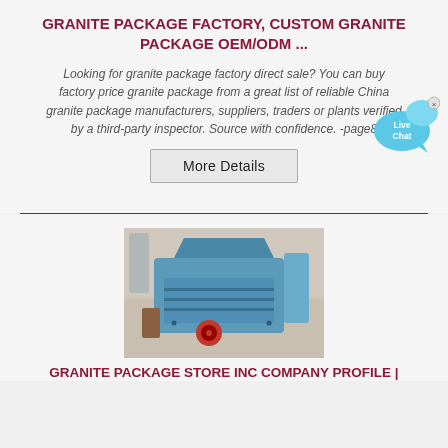GRANITE PACKAGE FACTORY, CUSTOM GRANITE PACKAGE OEM/ODM ...
Looking for granite package factory direct sale? You can buy factory price granite package from a great list of reliable China granite package manufacturers, suppliers, traders or plants verified by a third-party inspector. Source with confidence. -page8
[Figure (other): Live Chat button - blue speech bubble with 'Live Chat' text and a close (x) button]
[Figure (other): More Details button - rectangular button with border]
[Figure (photo): Photo of a large blue industrial granite crusher/impact mill machine on a factory floor]
GRANITE PACKAGE STORE INC COMPANY PROFILE |